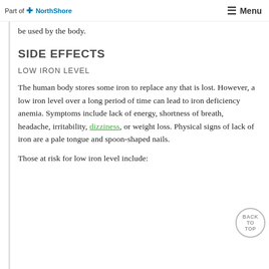Part of NorthShore | Menu
be used by the body.
SIDE EFFECTS
LOW IRON LEVEL
The human body stores some iron to replace any that is lost. However, a low iron level over a long period of time can lead to iron deficiency anemia. Symptoms include lack of energy, shortness of breath, headache, irritability, dizziness, or weight loss. Physical signs of lack of iron are a pale tongue and spoon-shaped nails.
Those at risk for low iron level include: